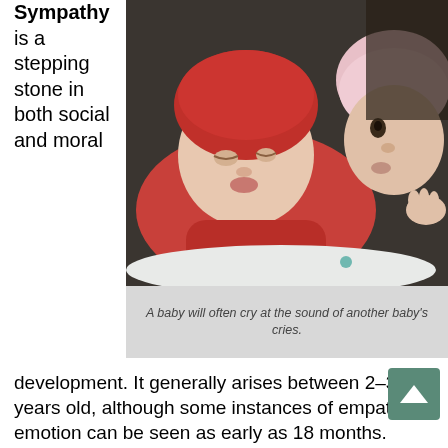Sympathy is a stepping stone in both social and moral
[Figure (photo): A young child in a pink hat leaning in to kiss or nuzzle a sleeping baby dressed in red, lying on a white surface.]
A baby will often cry at the sound of another baby's cries.
development. It generally arises between 2–3 years old, although some instances of empathic emotion can be seen as early as 18 months. Basic sharing of emotions, a precursor for sympathy, can be seen in infants. For example, babies will often begin to cry when they hear another baby crying nearby. This emphasizes the infant's ability to recognize emotional cues in his or her